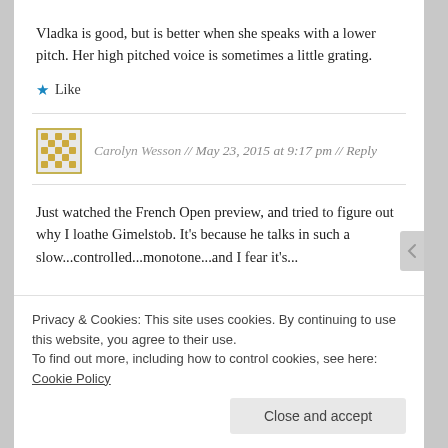Vladka is good, but is better when she speaks with a lower pitch. Her high pitched voice is sometimes a little grating.
★ Like
Carolyn Wesson // May 23, 2015 at 9:17 pm // Reply
Just watched the French Open preview, and tried to figure out why I loathe Gimelstob. It's because he talks in such a slow...controlled...monotone...and I fear it's...
Privacy & Cookies: This site uses cookies. By continuing to use this website, you agree to their use.
To find out more, including how to control cookies, see here: Cookie Policy
Close and accept